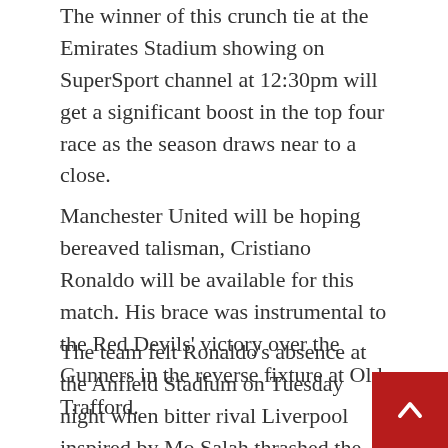The winner of this crunch tie at the Emirates Stadium showing on SuperSport channel at 12:30pm will get a significant boost in the top four race as the season draws near to a close.
Manchester United will be hoping bereaved talisman, Cristiano Ronaldo will be available for this match. His brace was instrumental to the Red Devils' victory over the Gunners in the reverse fixture at Old Trafford.
The team felt Ronaldo's absence at the Anfield Stadium on Tuesday night when bitter rival Liverpool inspired by Mo Salah thrashed the Red Devils by a 4-0 scoreline.